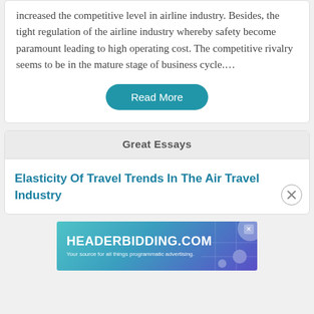increased the competitive level in airline industry. Besides, the tight regulation of the airline industry whereby safety become paramount leading to high operating cost. The competitive rivalry seems to be in the mature stage of business cycle....
Read More
Great Essays
Elasticity Of Travel Trends In The Air Travel Industry
[Figure (screenshot): Advertisement banner for HEADERBIDDING.COM with tagline 'Your source for all things programmatic advertising.']